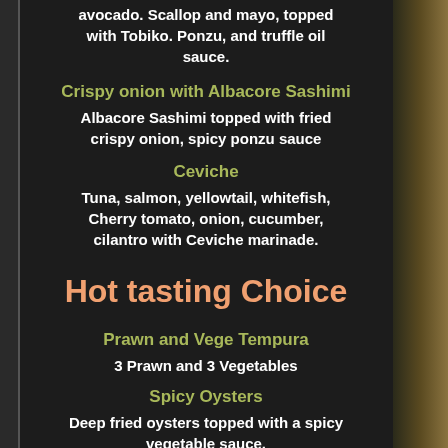avocado. Scallop and mayo, topped with Tobiko. Ponzu, and truffle oil sauce.
Crispy onion with Albacore Sashimi
Albacore Sashimi topped with fried crispy onion, spicy ponzu sauce
Ceviche
Tuna, salmon, yellowtail, whitefish, Cherry tomato, onion, cucumber, cilantro with Ceviche marinade.
Hot tasting Choice
Prawn and Vege Tempura
3 Prawn and 3 Vegetables
Spicy Oysters
Deep fried oysters topped with a spicy vegetable sauce.